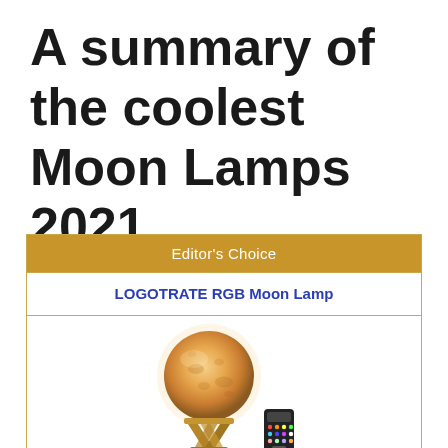A summary of the coolest Moon Lamps 2021
| Editor's Choice |
| --- |
| LOGOTRATE RGB Moon Lamp |
| [image of moon lamp with remote] |
[Figure (photo): A spherical moon lamp glowing with warm orange/white light, sitting on a wooden X-shaped stand, with a small black multi-color RGB remote control next to it.]